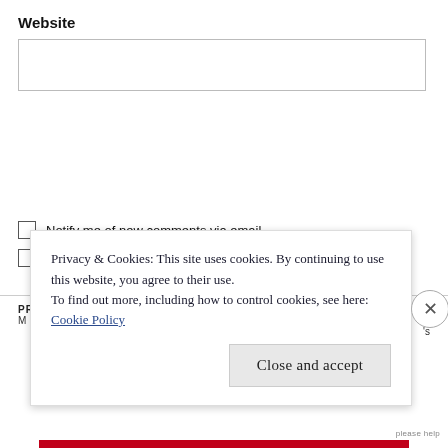Website
[Figure (other): Empty text input box for website URL]
Notify me of new comments via email.
Notify me of new posts via email.
PREVIOUS POST
NEXT POST
Privacy & Cookies: This site uses cookies. By continuing to use this website, you agree to their use.
To find out more, including how to control cookies, see here:
Cookie Policy
Close and accept